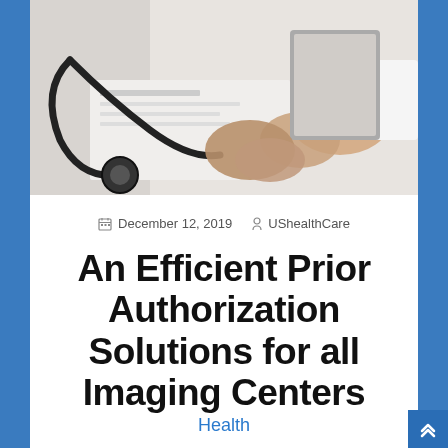[Figure (photo): Medical professional in white coat with stethoscope on desk, reviewing documents, hands clasped of patient visible]
December 12, 2019   UShealthCare
An Efficient Prior Authorization Solutions for all Imaging Centers
Health